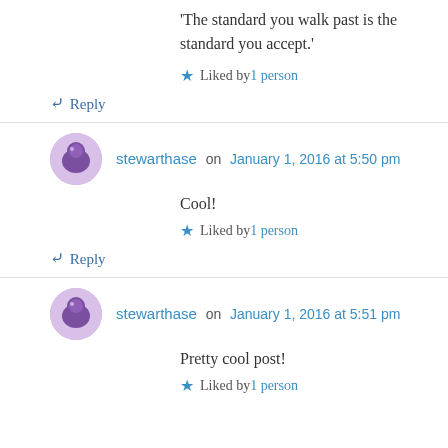'The standard you walk past is the standard you accept.'
★ Liked by 1 person
↳ Reply
stewarthase on January 1, 2016 at 5:50 pm
Cool!
★ Liked by 1 person
↳ Reply
stewarthase on January 1, 2016 at 5:51 pm
Pretty cool post!
★ Liked by 1 person